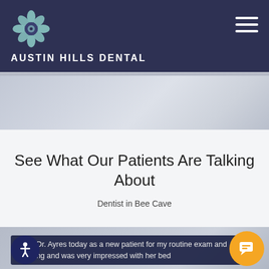[Figure (logo): Austin Hills Dental flower logo — teal/mint stylized flower with circular center]
AUSTIN HILLS DENTAL
[Figure (photo): Light blue-grey gradient hero banner image]
See What Our Patients Are Talking About
Dentist in Bee Cave
[Figure (photo): Blue-grey gradient background section]
I saw Dr. Ayres today as a new patient for my routine exam and cleaning and was very impressed with her bed